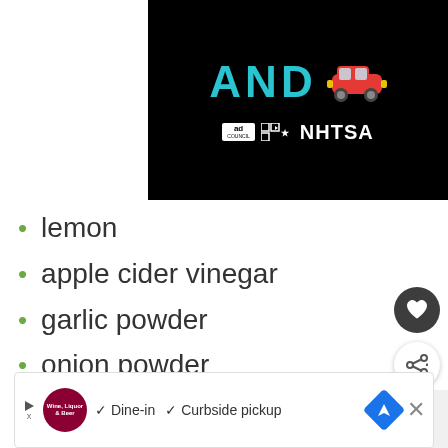[Figure (screenshot): Black video thumbnail showing 'AND' text in teal/cyan letters and a red car emoji, with Ad Council and NHTSA logos at the bottom]
lemon
apple cider vinegar
garlic powder
onion powder
sea salt
[Figure (screenshot): What's Next panel showing a burger thumbnail with text 'WHAT'S NEXT → How to Bake Sweet...']
[Figure (screenshot): Bottom advertisement banner showing a restaurant logo, checkmarks for 'Dine-in' and 'Curbside pickup', navigation icon, and close button]